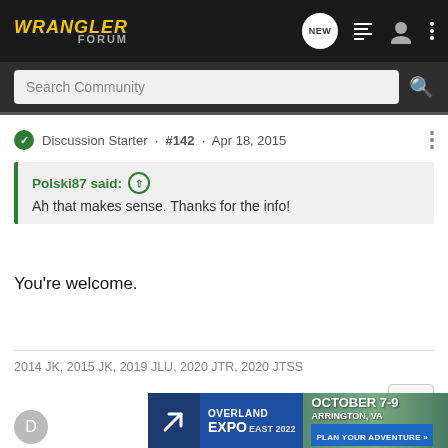WRANGLER FORUM
Search Community
Discussion Starter · #142 · Apr 18, 2015
Polski87 said: ↑
Ah that makes sense. Thanks for the info!
You're welcome.
2014 JK, 2015 JK, 2019 JLU, 2020 JTR, 2020 JTSS
[Figure (infographic): Overland Expo East 2022 advertisement banner. October 7-9, Arrington, VA. Plan Your Adventure.]